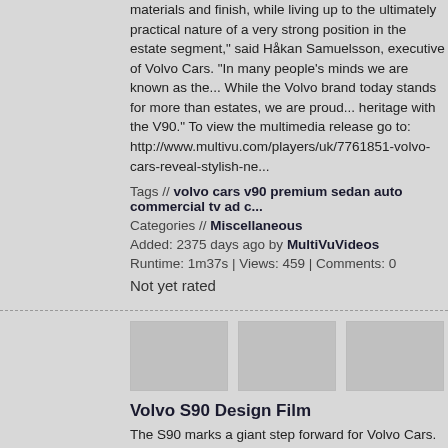materials and finish, while living up to the ultimately practical nature of a very strong position in the estate segment," said Håkan Samuelsson, executive of Volvo Cars. "In many people's minds we are known as the... While the Volvo brand today stands for more than estates, we are proud... heritage with the V90." To view the multimedia release go to: http://www.multivu.com/players/uk/7761851-volvo-cars-reveal-stylish-ne...
Tags // volvo cars v90 premium sedan auto commercial tv ad c...
Categories // Miscellaneous
Added: 2375 days ago by MultiVuVideos
Runtime: 1m37s | Views: 459 | Comments: 0
Not yet rated
[Figure (photo): Three video thumbnail placeholders shown in a row]
Volvo S90 Design Film
The S90 marks a giant step forward for Volvo Cars. The Swedish car ma... its SUVs and estates, but with the launch of the S90 Volvo is clearly inte... premium sedan segment with its distinctive executive class sedan. Equi... technologies ranging from cutting edge safety to cloud-based apps and... further proof of the Swedish brand's continuing transformation. "With the... made a clear statement of intent. We are now clearly and firmly in the ga... billion of investment over the past five years we have not only reimagine... be – we are now delivering on our promise of a resurgent and relevant V... Håkan Samuelsson, President & CEO, Volvo Car Group. To view the mu... http://www.multivu.com/players/uk/7702651-volvo-stakes-its-claim-with-...
Tags // volvo car auto s90 premium sedan technology design...